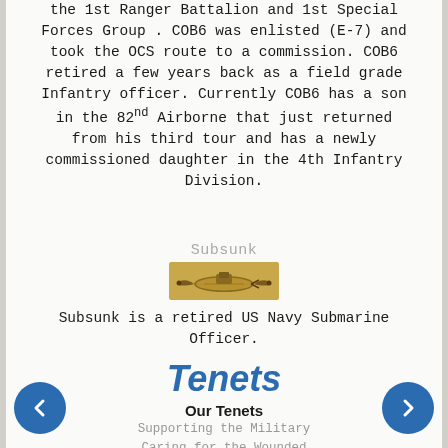the 1st Ranger Battalion and 1st Special Forces Group . COB6 was enlisted (E-7) and took the OCS route to a commission. COB6 retired a few years back as a field grade Infantry officer. Currently COB6 has a son in the 82nd Airborne that just returned from his third tour and has a newly commissioned daughter in the 4th Infantry Division.
Subsunk
[Figure (illustration): Gold/tan colored military submarine warfare badge (submarine dolphin insignia)]
Subsunk is a retired US Navy Submarine Officer.
Tenets
Our Tenets
Supporting the Military
Caring for the Wounded